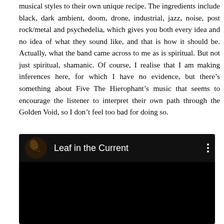musical styles to their own unique recipe. The ingredients include black, dark ambient, doom, drone, industrial, jazz, noise, post rock/metal and psychedelia, which gives you both every idea and no idea of what they sound like, and that is how it should be. Actually, what the band came across to me as is spiritual. But not just spiritual, shamanic. Of course, I realise that I am making inferences here, for which I have no evidence, but there's something about Five The Hierophant's music that seems to encourage the listener to interpret their own path through the Golden Void, so I don't feel too bad for doing so.
[Figure (screenshot): Embedded video player showing 'Leaf in the Current' with a dark circular thumbnail icon on the left, the title in white text, a three-dot menu icon on the right, and a black video content area below.]